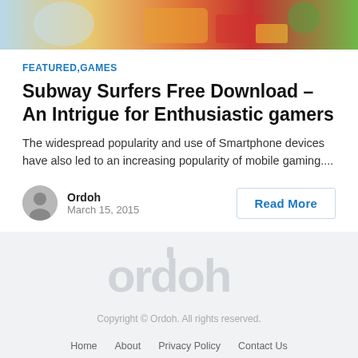[Figure (photo): Hero image showing colorful cartoon/game scene with characters and vehicles]
FEATURED,GAMES
Subway Surfers Free Download – An Intrigue for Enthusiastic gamers
The widespread popularity and use of Smartphone devices have also led to an increasing popularity of mobile gaming....
Ordoh
March 15, 2015
Read More
[Figure (logo): Ordoh watermark logo in light gray on footer background]
Copyright © Ordoh. All rights reserved.
Home   About   Privacy Policy   Contact Us